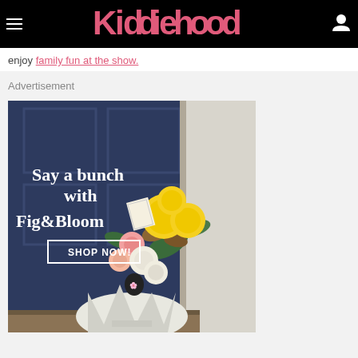Kiddiehood
enjoy family fun at the show.
Advertisement
[Figure (photo): Advertisement for Fig&Bloom flowers showing a bouquet of yellow, pink and cream flowers in white wrapping placed on a doorstep in front of a dark navy door. Text reads 'Say a bunch with Fig&Bloom' with a 'SHOP NOW!' button.]